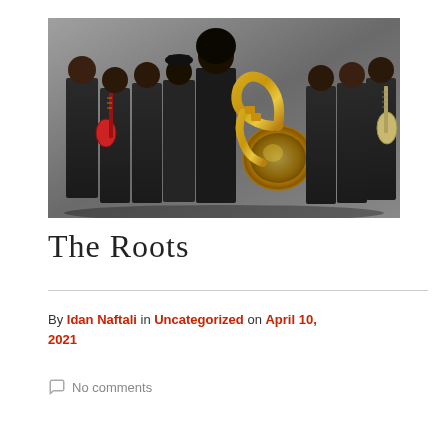[Figure (photo): Group photo of The Roots band members in dark suits, one holding a red electric guitar, another holding a sousaphone/tuba, and another holding a bass guitar, photographed against a gray background.]
The Roots
By Idan Naftali in Uncategorized on April 10, 2021
No comments